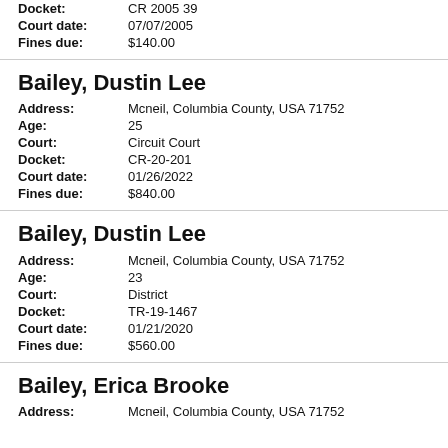Docket: CR 2005 39
Court date: 07/07/2005
Fines due: $140.00
Bailey, Dustin Lee
Address: Mcneil, Columbia County, USA 71752
Age: 25
Court: Circuit Court
Docket: CR-20-201
Court date: 01/26/2022
Fines due: $840.00
Bailey, Dustin Lee
Address: Mcneil, Columbia County, USA 71752
Age: 23
Court: District
Docket: TR-19-1467
Court date: 01/21/2020
Fines due: $560.00
Bailey, Erica Brooke
Address: Mcneil, Columbia County, USA 71752